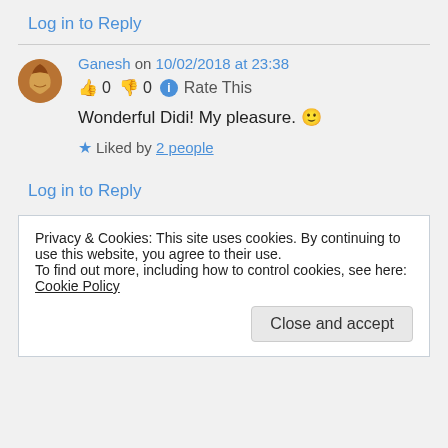Log in to Reply
Ganesh on 10/02/2018 at 23:38
👍 0 👎 0 ℹ Rate This
Wonderful Didi! My pleasure. 🙂
★ Liked by 2 people
Log in to Reply
Privacy & Cookies: This site uses cookies. By continuing to use this website, you agree to their use.
To find out more, including how to control cookies, see here: Cookie Policy
Close and accept